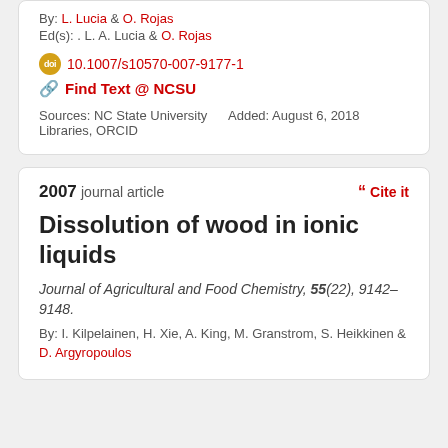By: L. Lucia & O. Rojas
Ed(s): . L. A. Lucia & O. Rojas
doi 10.1007/s10570-007-9177-1
Find Text @ NCSU
Sources: NC State University Libraries, ORCID
Added: August 6, 2018
2007 journal article
Cite it
Dissolution of wood in ionic liquids
Journal of Agricultural and Food Chemistry, 55(22), 9142–9148.
By: I. Kilpelainen, H. Xie, A. King, M. Granstrom, S. Heikkinen & D. Argyropoulos